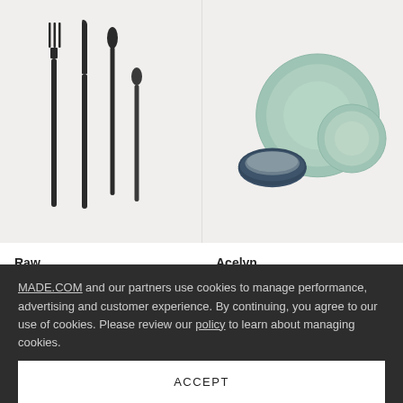[Figure (photo): Black matte cutlery set with fork, knife, and two spoons on light grey background]
[Figure (photo): Turquoise and speckle reactive glaze dinner set including two plates and a dark blue bowl on light grey background]
Raw
16 Piece Cutlery Set, Black Stainless Steel
£ 79
Acelyn
12 Piece Dinner Set, Turquoise & Speckle Reactive Glaze
£ 149
MADE.COM and our partners use cookies to manage performance, advertising and customer experience. By continuing, you agree to our use of cookies. Please review our policy to learn about managing cookies.
ACCEPT